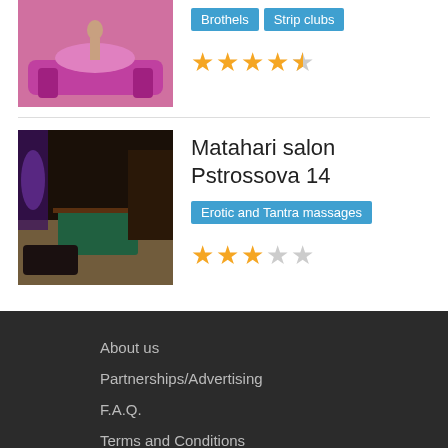[Figure (photo): Partial view of a woman near a pink sofa (top of page, cropped)]
Brothels  Strip clubs  ★★★★½
[Figure (photo): Interior of Matahari salon - dark luxury room with purple lighting and pool table]
Matahari salon Pstrossova 14
Erotic and Tantra massages  ★★★☆☆
About us
Partnerships/Advertising
F.A.Q.
Terms and Conditions
Privacy Policy